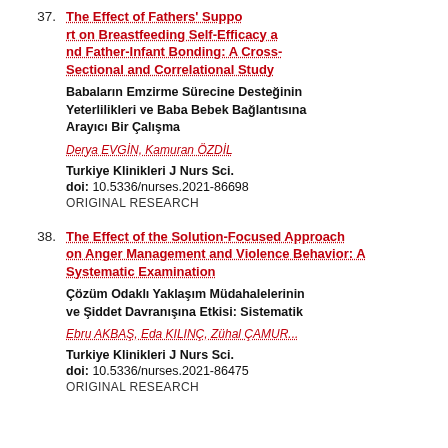37. The Effect of Fathers' Support on Breastfeeding Self-Efficacy and Father-Infant Bonding: A Cross-Sectional and Correlational Study | Babaların Emzirme Sürecine Destek… Yeterlilikleri ve Baba Bebek Bağla… Arayıcı Bir Çalışma | Derya EVGİN, Kamuran ÖZDİL | Turkiye Klinikleri J Nurs Sci. | doi: 10.5336/nurses.2021-86698 | ORIGINAL RESEARCH
38. The Effect of the Solution-Focused Approach Interventions on Anger Management and Violence Behavior: A Systematic Examination | Çözüm Odaklı Yaklaşım Müdahale… ve Şiddet Davranışına Etkisi: Sist… | Ebru AKBAŞ, Eda KILINÇ, Zühal ÇAMUR… | Turkiye Klinikleri J Nurs Sci. | doi: 10.5336/nurses.2021-86475 | ORIGINAL RESEARCH